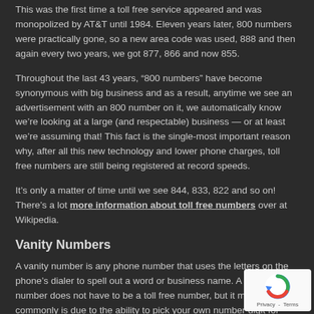This was the first time a toll free service appeared and was monopolized by AT&T until 1984. Eleven years later, 800 numbers were practically gone, so a new area code was used, 888 and then again every two years, we got 877, 866 and now 855.
Throughout the last 43 years, “800 numbers” have become synonymous with big business and as a result, anytime we see an advertisement with an 800 number on it, we automatically know we’re looking at a large (and respectable) business — or at least we’re assuming that! This fact is the single-most important reason why, after all this new technology and lower phone charges, toll free numbers are still being registered at record speeds.
It’s only a matter of time until we see 844, 833, 822 and so on! There’s a lot more information about toll free numbers over at Wikipedia.
Vanity Numbers
A vanity number is any phone number that uses the letters on the phone’s dialer to spell out a word or business name. A vanity number does not have to be a toll free number, but it most commonly is due to the ability to pick your own number digit for digit. Probably the most obvious use of vanity numbers are with businesses such as 1-800-FLOWERS, HR